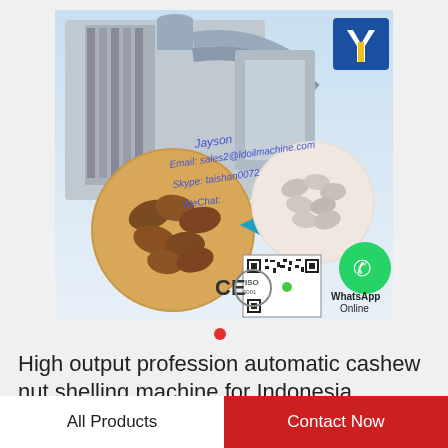[Figure (photo): Product advertisement image showing industrial cashew nut shelling/processing machinery, with inset circular photos of raw cashews and shelled cashews. Contains contact info overlay: Jayson, Email: sales2@ldoilmachine.com, Skype: taishan0072, WeChat. Also shows CE and ISO 9001 certifications, a QR code, WhatsApp Online button with green WhatsApp icon, and a company logo (blue square with yellow/white Y-shaped symbol) in top right corner.]
High output profession automatic cashew nut shelling machine for Indonesia
All Products
Contact Now